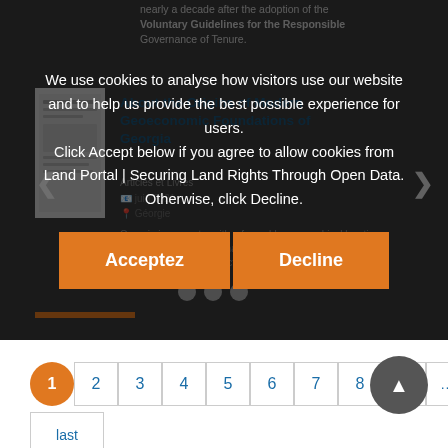nearly a decade after the adoption of the Voluntary Guidelines for the Responsible...
[Figure (screenshot): A card showing article thumbnail and title 'About the Origins of Modern Geoeconomic Foundations of Georgia' with metadata including Articles et Livres category, date juin 2021, location Géorgie, and a description about Georgia being a country with favorable geographical location, soil, climate conditions, natural and civilization crossroads which connected and...]
We use cookies to analyse how visitors use our website and to help us provide the best possible experience for users. Click Accept below if you agree to allow cookies from Land Portal | Securing Land Rights Through Open Data. Otherwise, click Decline.
Acceptez
Decline
1
2
3
4
5
6
7
8
9
...
last